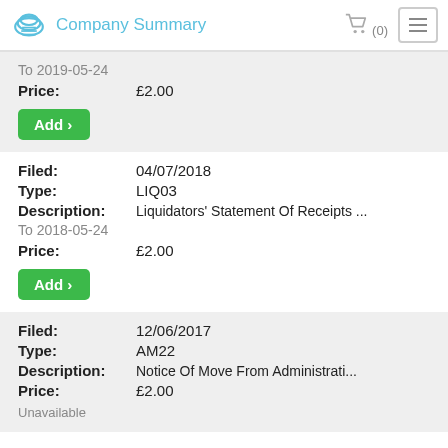Company Summary
To 2019-05-24
Price: £2.00
Add >
Filed: 04/07/2018
Type: LIQ03
Description: Liquidators' Statement Of Receipts ...
To 2018-05-24
Price: £2.00
Add >
Filed: 12/06/2017
Type: AM22
Description: Notice Of Move From Administrati...
Price: £2.00
Unavailable